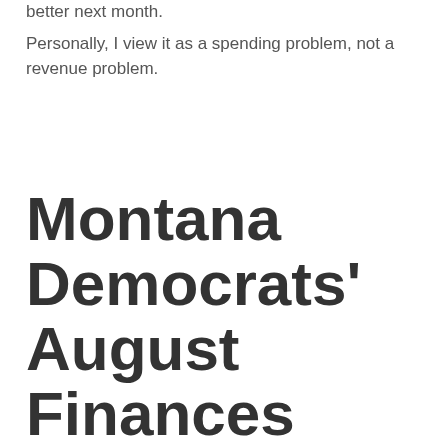better next month.
Personally, I view it as a spending problem, not a revenue problem.
Montana Democrats' August Finances